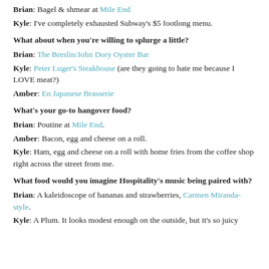Brian: Bagel & shmear at Mile End
Kyle: I've completely exhausted Subway's $5 footlong menu.
What about when you're willing to splurge a little?
Brian: The Breslin/John Dory Oyster Bar
Kyle: Peter Luger's Steakhouse (are they going to hate me because I LOVE meat?)
Amber: En Japanese Brasserie
What's your go-to hangover food?
Brian: Poutine at Mile End.
Amber: Bacon, egg and cheese on a roll.
Kyle: Ham, egg and cheese on a roll with home fries from the coffee shop right across the street from me.
What food would you imagine Hospitality's music being paired with?
Brian: A kaleidoscope of bananas and strawberries, Carmen Miranda-style.
Kyle: A Plum. It looks modest enough on the outside, but it's so juicy